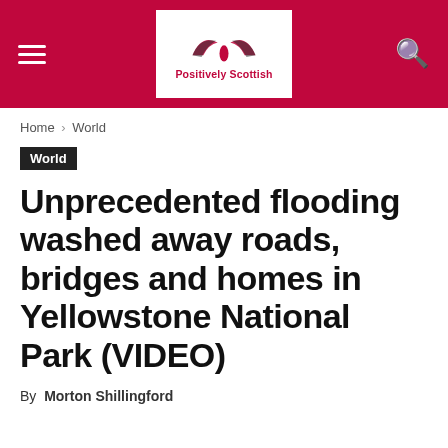Positively Scottish
Home › World
World
Unprecedented flooding washed away roads, bridges and homes in Yellowstone National Park (VIDEO)
By Morton Shillingford